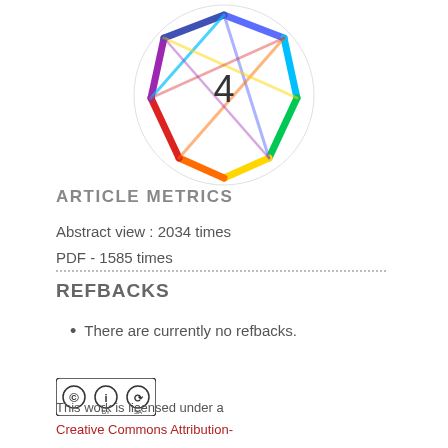[Figure (illustration): Altmetric donut badge showing score of 4 — a colorful polygon/crystal shape with rainbow gradient outline on a white circular background]
ARTICLE METRICS
Abstract view : 2034 times
PDF - 1585 times
REFBACKS
There are currently no refbacks.
[Figure (logo): Creative Commons Attribution-ShareAlike license badge (CC BY-SA)]
This work is licensed under a
Creative Commons Attribution-